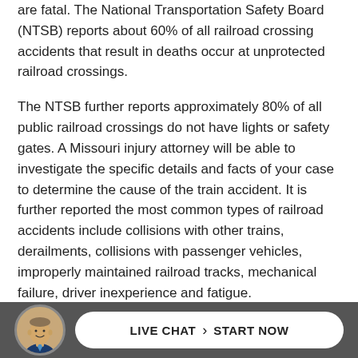are fatal. The National Transportation Safety Board (NTSB) reports about 60% of all railroad crossing accidents that result in deaths occur at unprotected railroad crossings.
The NTSB further reports approximately 80% of all public railroad crossings do not have lights or safety gates. A Missouri injury attorney will be able to investigate the specific details and facts of your case to determine the cause of the train accident. It is further reported the most common types of railroad accidents include collisions with other trains, derailments, collisions with passenger vehicles, improperly maintained railroad tracks, mechanical failure, driver inexperience and fatigue.
[Figure (photo): Circular avatar photo of a man in a suit, used in a live chat footer button]
LIVE CHAT › START NOW